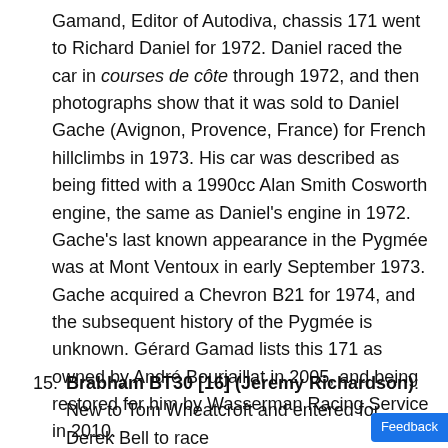Gamand, Editor of Autodiva, chassis 171 went to Richard Daniel for 1972. Daniel raced the car in courses de côte through 1972, and then photographs show that it was sold to Daniel Gache (Avignon, Provence, France) for French hillclimbs in 1973. His car was described as being fitted with a 1990cc Alan Smith Cosworth engine, the same as Daniel's engine in 1972. Gache's last known appearance in the Pygmée was at Mont Ventoux in early September 1973. Gache acquired a Chevron B21 for 1974, and the subsequent history of the Pygmée is unknown. Gérard Gamad lists this 171 as owned by André Bourjaillat in 2005, and being restored for him by Wasserman Racing Service in 2010.
15. Brabham BT30 [16] (Jeremy Richardson): New to Tom Wheatcroft and entered for Derek Bell to race